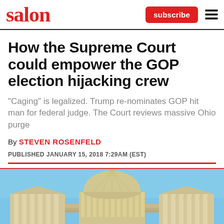salon | subscribe
How the Supreme Court could empower the GOP election hijacking crew
"Caging" is legalized. Trump re-nominates GOP hit man for federal judge. The Court reviews massive Ohio purge
By STEVEN ROSENFELD
PUBLISHED JANUARY 15, 2018 7:29AM (EST)
[Figure (photo): Photograph of the US Capitol building dome and columns against a blue sky]